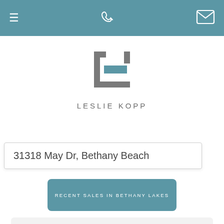Navigation bar with hamburger menu, phone icon, and mail icon
[Figure (logo): Leslie Kopp real estate logo: geometric square bracket shapes in gray with a teal/blue rectangle in center, with text LESLIE KOPP below]
31318 May Dr, Bethany Beach
RECENT SALES IN BETHANY LAKES
BROWSE BETHANY BEACH COMMUNITIES
Learn more about the location and amenities that make each community in Bethany Beach unique.